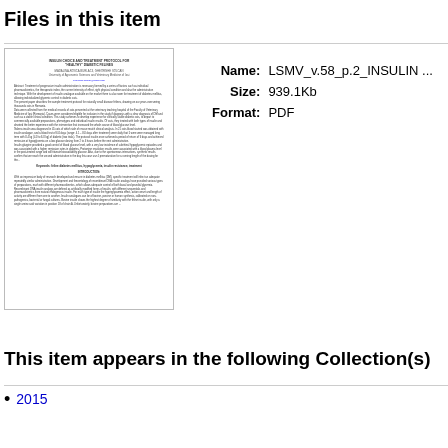Files in this item
[Figure (other): Thumbnail preview of a PDF document titled 'INSULIN CHOICE AND TREATMENT PROTOCOL FOR HEALTHY DIABETIC FELINES']
Name: LSMV_v.58_p.2_INSULIN ...
Size: 939.1Kb
Format: PDF
This item appears in the following Collection(s)
2015